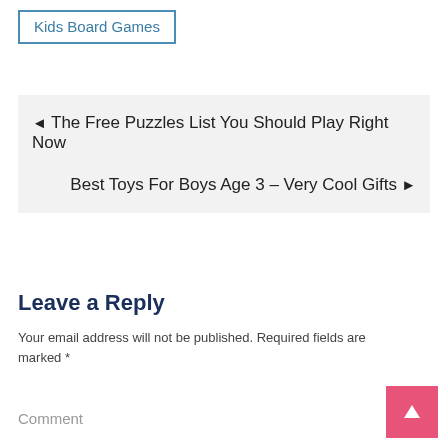Kids Board Games
◄ The Free Puzzles List You Should Play Right Now
Best Toys For Boys Age 3 – Very Cool Gifts ►
Leave a Reply
Your email address will not be published. Required fields are marked *
Comment